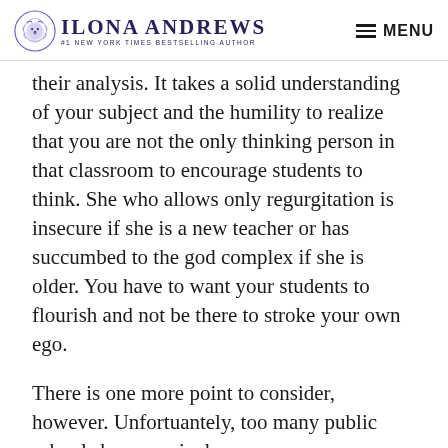ILONA ANDREWS — #1 NEW YORK TIMES BESTSELLING AUTHOR | MENU
their analysis. It takes a solid understanding of your subject and the humility to realize that you are not the only thinking person in that classroom to encourage students to think. She who allows only regurgitation is insecure if she is a new teacher or has succumbed to the god complex if she is older. You have to want your students to flourish and not be there to stroke your own ego.
There is one more point to consider, however. Unfortuantely, too many public schools have curriculum